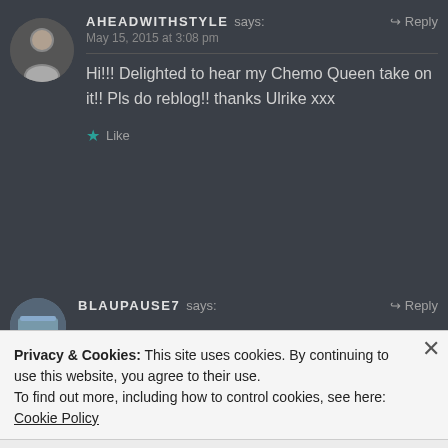AHEADWITHSTYLE says: Reply
May 15, 2015 at 3:08 pm
Hi!!! Delighted to hear my Chemo Queen take on it!! Pls do reblog!! thanks Ulrike xxx
★ Like
BLAUPAUSE7 says: Reply
Privacy & Cookies: This site uses cookies. By continuing to use this website, you agree to their use.
To find out more, including how to control cookies, see here: Cookie Policy
Close and accept